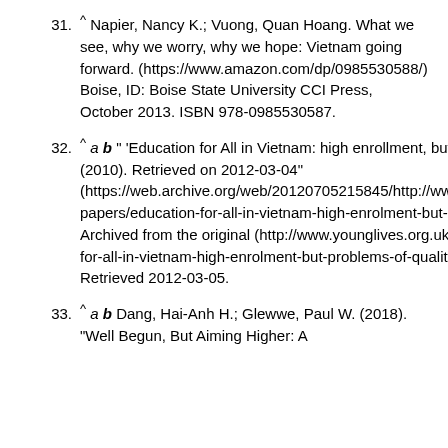31. ^ Napier, Nancy K.; Vuong, Quan Hoang. What we see, why we worry, why we hope: Vietnam going forward. (https://www.amazon.com/dp/0985530588/) Boise, ID: Boise State University CCI Press, October 2013. ISBN 978-0985530587.
32. ^ a b " 'Education for All in Vietnam: high enrollment, but problems of quality remain.' (2010). Retrieved on 2012-03-04" (https://web.archive.org/web/20120705215845/http://www.younglives.org.uk/files/policy-papers/education-for-all-in-vietnam-high-enrolment-but-problems-of-quality-remain). Archived from the original (http://www.younglives.org.uk/files/policy-papers/education-for-all-in-vietnam-high-enrolment-but-problems-of-quality-remain) on 2012-07-05. Retrieved 2012-03-05.
33. ^ a b Dang, Hai-Anh H.; Glewwe, Paul W. (2018). "Well Begun, But Aiming Higher: A